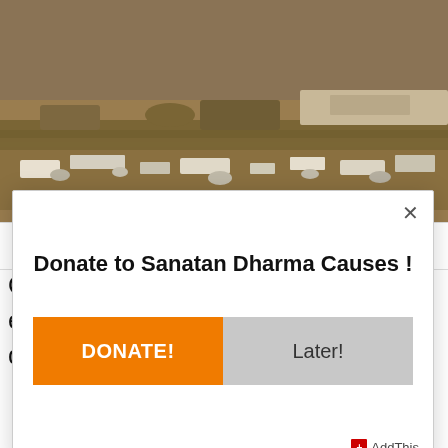[Figure (photo): Aerial/ground view of ruins of Odantapuri University — scattered stones and rubble on dry grass/earth terrain]
Odantapuri University
Odantapuri University was established by Dharmapala of Pala dynasty during the late 8th
[Figure (screenshot): Modal dialog overlay: 'Donate to Sanatan Dharma Causes !' with orange DONATE! button and grey Later! button, close X, and AddThis branding]
Donate to Sanatan Dharma Causes !
DONATE!
Later!